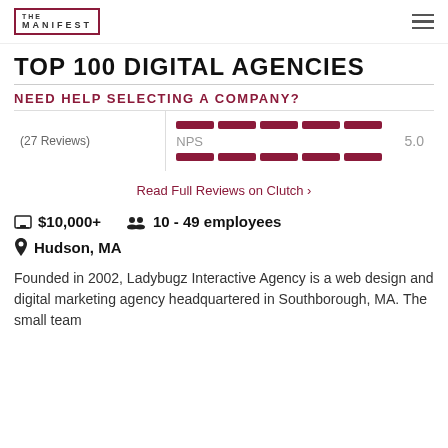THE MANIFEST
TOP 100 DIGITAL AGENCIES
NEED HELP SELECTING A COMPANY?
(27 Reviews)
NPS  5.0
Read Full Reviews on Clutch ›
$10,000+  10 - 49 employees
Hudson, MA
Founded in 2002, Ladybugz Interactive Agency is a web design and digital marketing agency headquartered in Southborough, MA. The small team